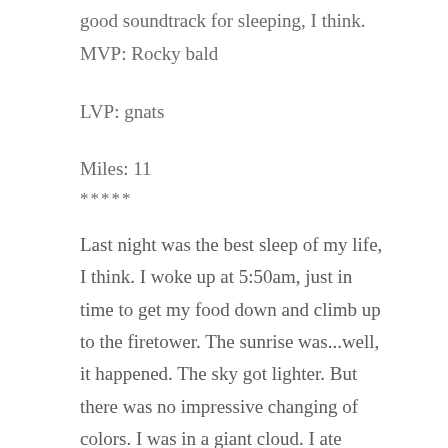good soundtrack for sleeping, I think.
MVP: Rocky bald
LVP: gnats
Miles: 11
*****
Last night was the best sleep of my life, I think. I woke up at 5:50am, just in time to get my food down and climb up to the firetower. The sunrise was...well, it happened. The sky got lighter. But there was no impressive changing of colors. I was in a giant cloud. I ate breakfast and clambered back down and went back to bed.